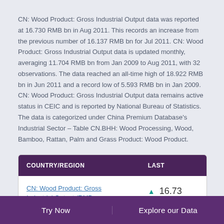CN: Wood Product: Gross Industrial Output data was reported at 16.730 RMB bn in Aug 2011. This records an increase from the previous number of 16.137 RMB bn for Jul 2011. CN: Wood Product: Gross Industrial Output data is updated monthly, averaging 11.704 RMB bn from Jan 2009 to Aug 2011, with 32 observations. The data reached an all-time high of 18.922 RMB bn in Jun 2011 and a record low of 5.593 RMB bn in Jan 2009. CN: Wood Product: Gross Industrial Output data remains active status in CEIC and is reported by National Bureau of Statistics. The data is categorized under China Premium Database's Industrial Sector – Table CN.BHH: Wood Processing, Wood, Bamboo, Rattan, Palm and Grass Product: Wood Product.
| COUNTRY/REGION | LAST |
| --- | --- |
| CN: Wood Product: Gross Industrial Output (RMB | ▲ 16.73 |
Try Now   Explore our Data